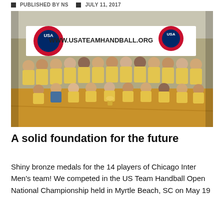PUBLISHED BY NS   JULY 11, 2017
[Figure (photo): Group photo of a team wearing yellow jerseys posing in front of a USA Team Handball banner reading www.usateamhandball.org. They are celebrating with a trophy on a basketball court.]
A solid foundation for the future
Shiny bronze medals for the 14 players of Chicago Inter Men's team! We competed in the US Team Handball Open National Championship held in Myrtle Beach, SC on May 19